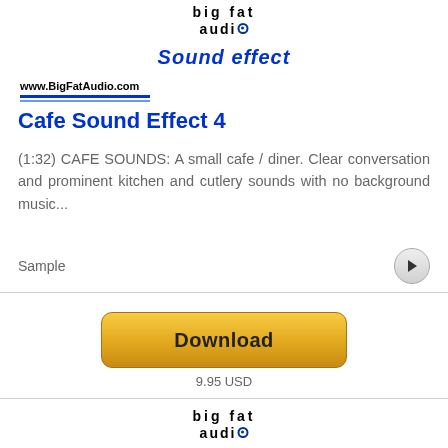[Figure (logo): Big Fat Audio logo with bold text 'big fat' and 'audio' with a circular symbol]
Sound effect
www.BigFatAudio.com
Cafe Sound Effect 4
(1:32) CAFE SOUNDS: A small cafe / diner. Clear conversation and prominent kitchen and cutlery sounds with no background music...
Sample
[Figure (other): Download button - a gold/yellow rounded rectangle button with text 'Download']
9.95 USD
[Figure (logo): Big Fat Audio logo with bold text 'big fat' and 'audio' with a circular symbol]
Sound effect
www.BigFatAudio.com